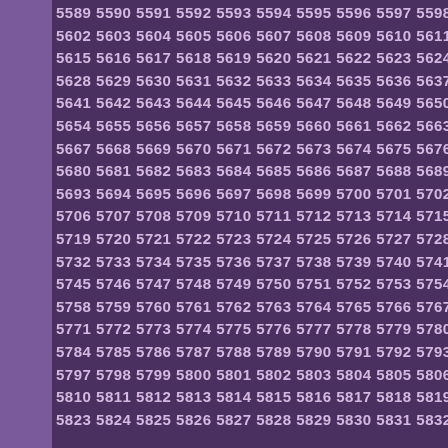5589 5590 5591 5592 5593 5594 5595 5596 5597 5598 5599 5600 56...
5602 5603 5604 5605 5606 5607 5608 5609 5610 5611 5612 5613 56...
5615 5616 5617 5618 5619 5620 5621 5622 5623 5624 5625 5626 56...
5628 5629 5630 5631 5632 5633 5634 5635 5636 5637 5638 5639 56...
5641 5642 5643 5644 5645 5646 5647 5648 5649 5650 5651 5652 56...
5654 5655 5656 5657 5658 5659 5660 5661 5662 5663 5664 5665 56...
5667 5668 5669 5670 5671 5672 5673 5674 5675 5676 5677 5678 56...
5680 5681 5682 5683 5684 5685 5686 5687 5688 5689 5690 5691 56...
5693 5694 5695 5696 5697 5698 5699 5700 5701 5702 5703 5704 57...
5706 5707 5708 5709 5710 5711 5712 5713 5714 5715 5716 5717 57...
5719 5720 5721 5722 5723 5724 5725 5726 5727 5728 5729 5730 57...
5732 5733 5734 5735 5736 5737 5738 5739 5740 5741 5742 5743 57...
5745 5746 5747 5748 5749 5750 5751 5752 5753 5754 5755 5756 57...
5758 5759 5760 5761 5762 5763 5764 5765 5766 5767 5768 5769 57...
5771 5772 5773 5774 5775 5776 5777 5778 5779 5780 5781 5782 57...
5784 5785 5786 5787 5788 5789 5790 5791 5792 5793 5794 5795 57...
5797 5798 5799 5800 5801 5802 5803 5804 5805 5806 5807 5808 58...
5810 5811 5812 5813 5814 5815 5816 5817 5818 5819 5820 5821 58...
5823 5824 5825 5826 5827 5828 5829 5830 5831 5832 5833 5834 58...